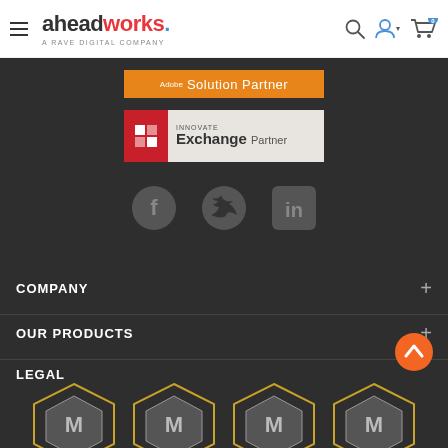[Figure (logo): Aheadworks logo with hamburger menu, search icon, user icon, and cart icon with 0 badge]
[Figure (logo): Adobe Solution Partner orange banner]
[Figure (logo): Adobe Innovate Exchange Partner badge]
[Figure (infographic): Social media icons: Facebook, Twitter, LinkedIn in grey]
COMPANY
OUR PRODUCTS
LEGAL
[Figure (infographic): Magento award hexagon badges row at bottom of page]